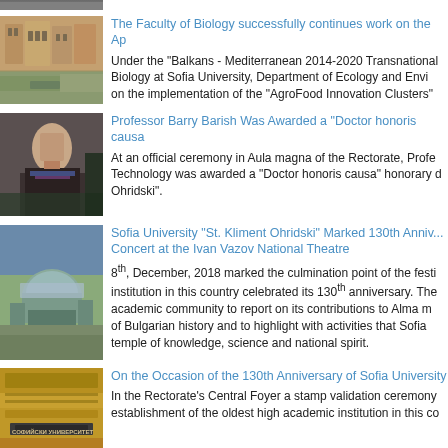[Figure (photo): Partial top photo, cropped]
[Figure (photo): Building exterior photo - Faculty of Biology]
The Faculty of Biology successfully continues work on the Ap...
Under the "Balkans - Mediterranean 2014-2020 Transnational... Biology at Sofia University, Department of Ecology and Envi... on the implementation of the "AgroFood Innovation Clusters"...
[Figure (photo): Professor Barry Barish at podium]
Professor Barry Barish Was Awarded a “Doctor honoris causa...
At an official ceremony in Aula magna of the Rectorate, Profe... Technology was awarded a “Doctor honoris causa” honorary d... Ohridski”.
[Figure (photo): Aerial view of Sofia University]
Sofia University “St. Kliment Ohridski” Marked 130th Anniv... Concert at the Ivan Vazov National Theatre
8th, December, 2018 marked the culmination point of the festi... institution in this country celebrated its 130th anniversary. The... academic community to report on its contributions to Alma m... of Bulgarian history and to highlight with activities that Sofia... temple of knowledge, science and national spirit.
[Figure (photo): Sofia University facade sign]
On the Occasion of the 130th Anniversary of Sofia University...
In the Rectorate’s Central Foyer a stamp validation ceremony... establishment of the oldest high academic institution in this co...